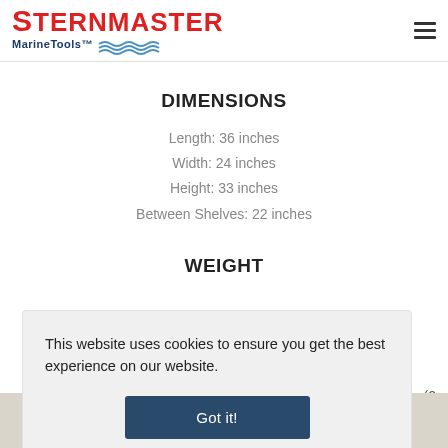STERNMASTER MarineTools™
DIMENSIONS
Length: 36 inches
Width: 24 inches
Height: 33 inches
Between Shelves: 22 inches
WEIGHT
This website uses cookies to ensure you get the best experience on our website.
Got it!
ity (2
Search | Cart | Up